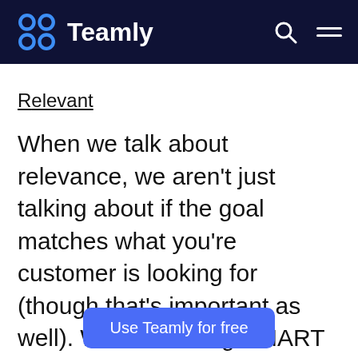Teamly
Relevant
When we talk about relevance, we aren't just talking about if the goal matches what you're customer is looking for (though that's important as well). When creating SMART goals, relevant refers to your individual goals
Use Teamly for free